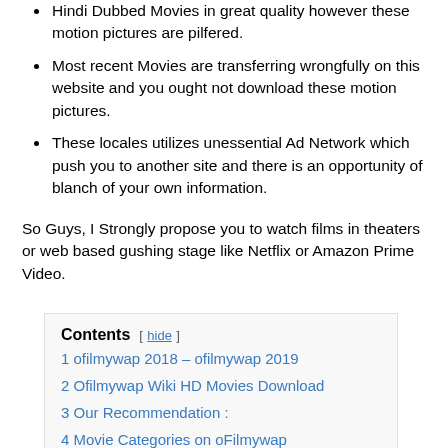Hindi Dubbed Movies in great quality however these motion pictures are pilfered.
Most recent Movies are transferring wrongfully on this website and you ought not download these motion pictures.
These locales utilizes unessential Ad Network which push you to another site and there is an opportunity of blanch of your own information.
So Guys, I Strongly propose you to watch films in theaters or web based gushing stage like Netflix or Amazon Prime Video.
Contents [ hide ]
1 ofilmywap 2018 – ofilmywap 2019
2 Ofilmywap Wiki HD Movies Download
3 Our Recommendation :
4 Movie Categories on oFilmywap